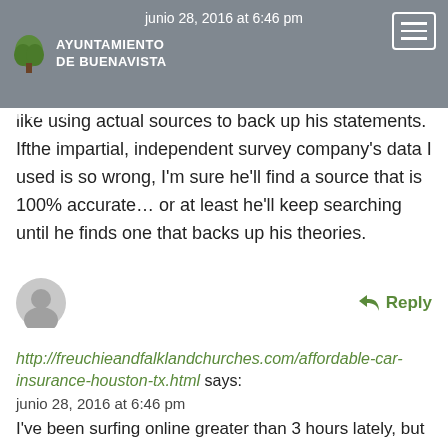Ayuntamiento de Buenavista | junio 28, 2016 at 6:46 pm
55 I guess Christopher is going to try something new… like using actual sources to back up his statements. Ifthe impartial, independent survey company's data I used is so wrong, I'm sure he'll find a source that is 100% accurate… or at least he'll keep searching until he finds one that backs up his theories.
Reply
http://freuchieandfalklandchurches.com/affordable-car-insurance-houston-tx.html says:
junio 28, 2016 at 6:46 pm
I've been surfing online greater than 3 hours lately, but I by no means found any attention-grabbing article like yours. It's pretty price sufficient for me. In my opinion, if all web owners and bloggers made good content as you